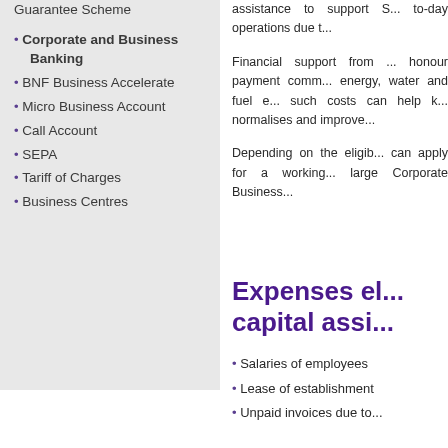Guarantee Scheme
Corporate and Business Banking
BNF Business Accelerate
Micro Business Account
Call Account
SEPA
Tariff of Charges
Business Centres
assistance to support S... to-day operations due t...
Financial support from ... honour payment comm... energy, water and fuel e... such costs can help k... normalises and improve...
Depending on the eligib... can apply for a working... large Corporate Business...
Expenses el... capital assi...
Salaries of employees
Lease of establishment
Unpaid invoices due to...